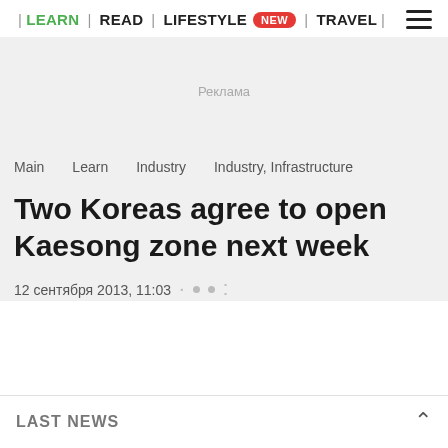| LEARN | READ | LIFESTYLE NEW | TRAVEL |
[Figure (other): Advertisement placeholder area with text 'Реклама']
Main   Learn   Industry   Industry, Infrastructure
Two Koreas agree to open Kaesong zone next week
12 сентября 2013, 11:03  ·  ·  ·
LAST NEWS